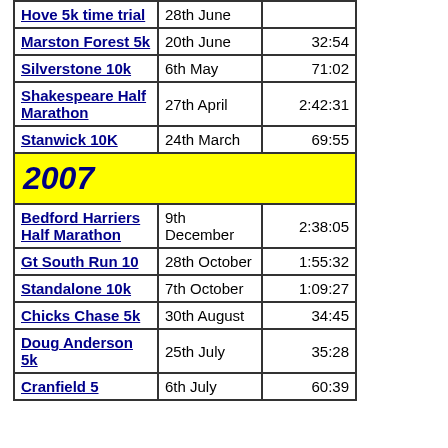| Race | Date | Time |
| --- | --- | --- |
| Hove 5k time trial | 28th June |  |
| Marston Forest 5k | 20th June | 32:54 |
| Silverstone 10k | 6th May | 71:02 |
| Shakespeare Half Marathon | 27th April | 2:42:31 |
| Stanwick 10K | 24th March | 69:55 |
| 2007 |  |  |
| Bedford Harriers Half Marathon | 9th December | 2:38:05 |
| Gt South Run 10 | 28th October | 1:55:32 |
| Standalone 10k | 7th October | 1:09:27 |
| Chicks Chase 5k | 30th August | 34:45 |
| Doug Anderson 5k | 25th July | 35:28 |
| Cranfield 5 | 6th July | 60:39 |